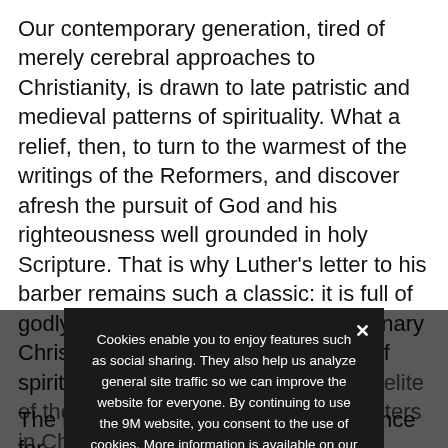Our contemporary generation, tired of merely cerebral approaches to Christianity, is drawn to late patristic and medieval patterns of spirituality. What a relief, then, to turn to the warmest of the writings of the Reformers, and discover afresh the pursuit of God and his righteousness well grounded in holy Scripture. That is why Luther's letter to his barber remains such a classic: it is full of godly application of the gospel to ordinary Christians, building up a conception of spirituality that is not reserved for the elite of the elect but for all brothers and sisters in Christ. Also of Calvin's theological and devotional reflection on true spirituality or piety (pietas), much of the content of the...
Cookies enable you to enjoy features such as social sharing. They also help us analyze general site traffic so we can improve the website for everyone. By continuing to use the 9M website, you consent to the use of cookies. More information is available on our Privacy Policy.
The Reformation is of central importance for